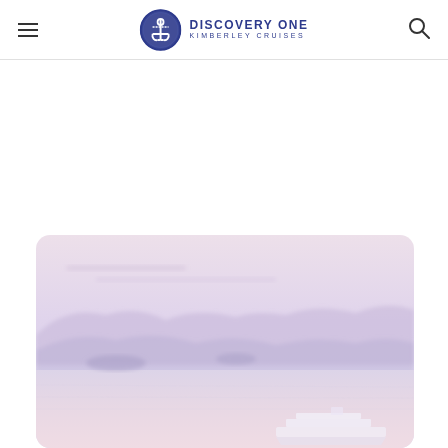DISCOVERY ONE KIMBERLEY CRUISES
[Figure (photo): A serene seascape at dusk or dawn with soft pink and lavender hues. Misty hills or islands are visible in the background, and a cruise ship silhouette appears in the lower right of the image. The scene is calm and atmospheric.]